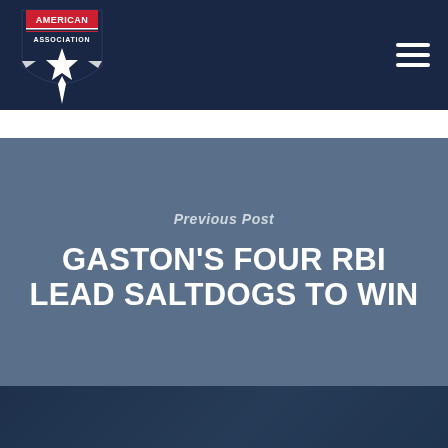[Figure (logo): American Association baseball league logo — shield shape with red top band reading AMERICAN ASSOCIATION, white star in center, dark navy background]
Navigation menu (hamburger icon)
Previous Post
GASTON'S FOUR RBI LEAD SALTDOGS TO WIN
Next Post
CLEVLEN GARNERS AMERICAN ASSOCIATION PLAYER OF THE